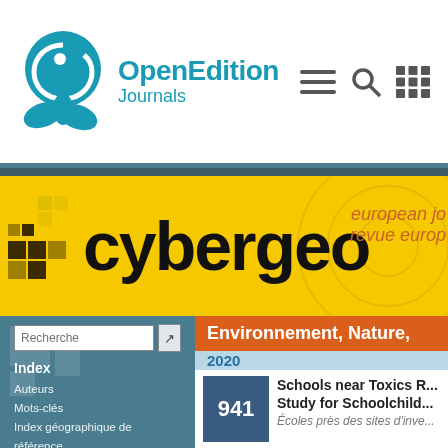[Figure (logo): OpenEdition Journals logo with teal plant/globe icon and teal wordmark 'OpenEdition Journals']
[Figure (logo): Cybergeo journal banner: yellow background with pixel art decoration and large black 'cybergeo' wordmark, orange italic text 'european jo...' and 'revue euro...']
Environnement, Nature,
2020
Recherche
Index
Auteurs
Mots-clés
Index géographique de référence
Années
941
Schools near Toxics R... Study for Schoolchild...
Écoles près des sites d'inve...